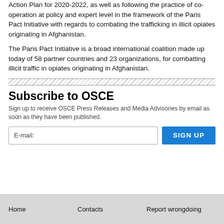Action Plan for 2020-2022, as well as following the practice of co-operation at policy and expert level in the framework of the Paris Pact Initiative with regards to combating the trafficking in illicit opiates originating in Afghanistan.
The Paris Pact Initiative is a broad international coalition made up today of 58 partner countries and 23 organizations, for combatting illicit traffic in opiates originating in Afghanistan.
Subscribe to OSCE
Sign up to receive OSCE Press Releases and Media Advisories by email as soon as they have been published.
Home    Contacts    Report wrongdoing